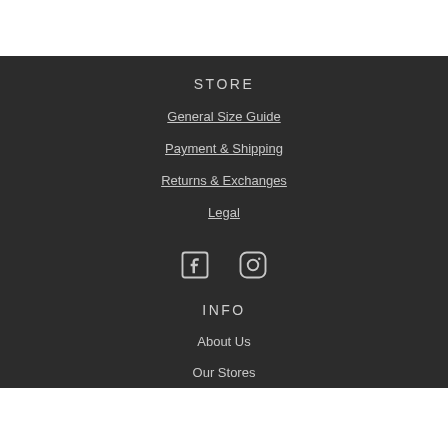STORE
General Size Guide
Payment & Shipping
Returns & Exchanges
Legal
[Figure (illustration): Facebook and Instagram social media icons in light gray]
INFO
About Us
Our Stores